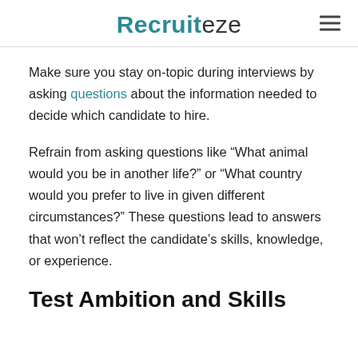Recruiteze
Make sure you stay on-topic during interviews by asking questions about the information needed to decide which candidate to hire.
Refrain from asking questions like “What animal would you be in another life?” or “What country would you prefer to live in given different circumstances?” These questions lead to answers that won’t reflect the candidate’s skills, knowledge, or experience.
Test Ambition and Skills